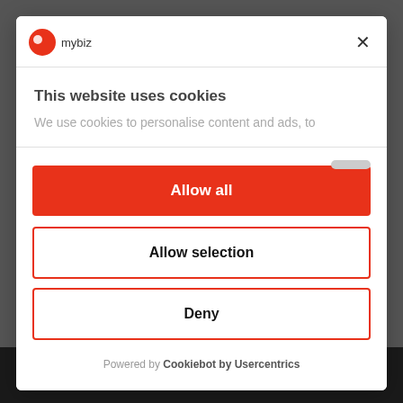[Figure (screenshot): myBiz website logo in modal header — red circle icon with 'mybiz' text]
This website uses cookies
We use cookies to personalise content and ads, to
Allow all
Allow selection
Deny
Powered by Cookiebot by Usercentrics